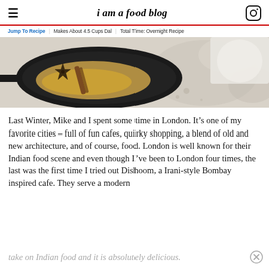i am a food blog
Jump To Recipe   Makes About 4.5 Cups Dal   Total Time: Overnight Recipe
[Figure (photo): Overhead view of a black cast-iron skillet filled with ground spices, a cinnamon stick, and a star anise on a white marble surface]
Last Winter, Mike and I spent some time in London. It’s one of my favorite cities – full of fun cafes, quirky shopping, a blend of old and new architecture, and of course, food. London is well known for their Indian food scene and even though I’ve been to London four times, the last was the first time I tried out Dishoom, a Irani-style Bombay inspired cafe. They serve a modern take on Indian food and it is absolutely delicious.